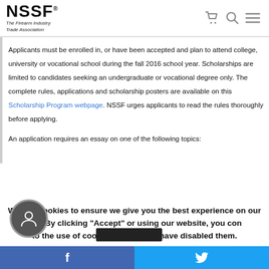NSSF® The Firearm Industry Trade Association
Applicants must be enrolled in, or have been accepted and plan to attend college, university or vocational school during the fall 2016 school year. Scholarships are limited to candidates seeking an undergraduate or vocational degree only. The complete rules, applications and scholarship posters are available on this Scholarship Program webpage. NSSF urges applicants to read the rules thoroughly before applying.
An application requires an essay on one of the following topics:
We use cookies to ensure we give you the best experience on our website. By clicking "Accept" or using our website, you consent to the use of cookies unless you have disabled them.